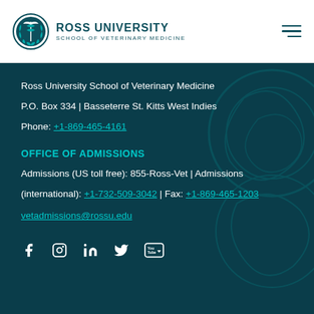[Figure (logo): Ross University School of Veterinary Medicine logo with circular crest and text]
Ross University School of Veterinary Medicine
P.O. Box 334 | Basseterre St. Kitts West Indies
Phone: +1-869-465-4161
OFFICE OF ADMISSIONS
Admissions (US toll free): 855-Ross-Vet | Admissions (international): +1-732-509-3042 | Fax: +1-869-465-1203
vetadmissions@rossu.edu
[Figure (infographic): Social media icons: Facebook, Instagram, LinkedIn, Twitter, YouTube]